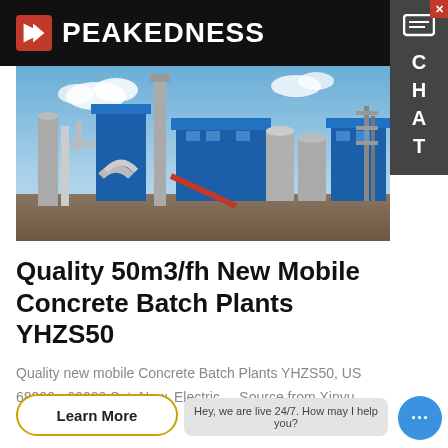PEAKEDNESS
[Figure (photo): Industrial concrete batch plant / manufacturing facility with tall blue silos, towers, conveyor structures, pipes, and large cylindrical cement storage tanks against a cloudy sky]
Quality 50m3/fh New Mobile Concrete Batch Plants YHZS50
Quality new mobile Concrete Batch Plants YHZS50, US 68000 - 69000 Set, New, Electric, , .Source from Xinyu…